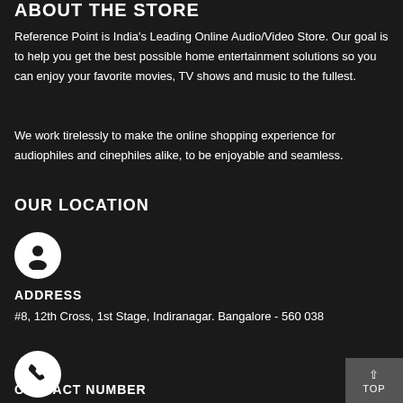ABOUT THE STORE
Reference Point is India's Leading Online Audio/Video Store. Our goal is to help you get the best possible home entertainment solutions so you can enjoy your favorite movies, TV shows and music to the fullest.
We work tirelessly to make the online shopping experience for audiophiles and cinephiles alike, to be enjoyable and seamless.
OUR LOCATION
[Figure (illustration): White circle icon with a person/user silhouette in black]
ADDRESS
#8, 12th Cross, 1st Stage, Indiranagar. Bangalore - 560 038
[Figure (illustration): White circle icon with a phone/handset silhouette in black]
CONTACT NUMBER